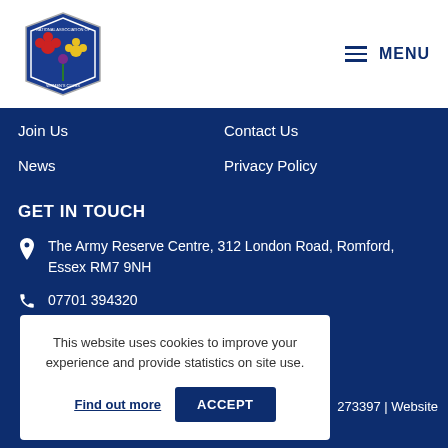[Figure (logo): National Association of Women's Clubs circular logo with floral emblem on blue background]
≡ MENU
Join Us
Contact Us
News
Privacy Policy
GET IN TOUCH
The Army Reserve Centre, 312 London Road, Romford, Essex RM7 9NH
07701 394320
This website uses cookies to improve your experience and provide statistics on site use. Find out more  ACCEPT
273397 | Website